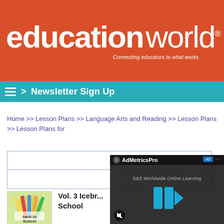[Figure (logo): Education World logo on orange/red background with tagline 'Connecting educators to what works']
> Newsletter Sign Up
Home >> Lesson Plans >> Language Arts and Reading >> Lesson Plans >> Lesson Plans for
[Figure (screenshot): Ad overlay showing AdMetricsPro branding with S&S Worldwide Online Learning video player with play button and mute icon]
[Figure (photo): Back to School pencils thumbnail image]
Vol. 3 Icebr... School